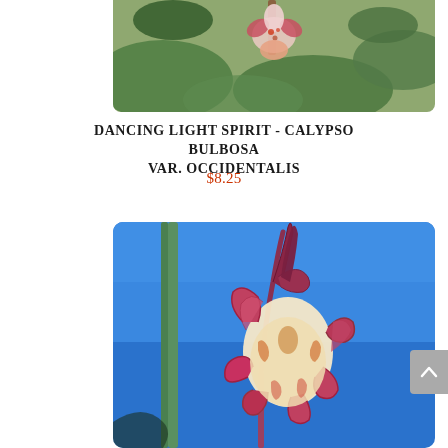[Figure (photo): Close-up photo of a Calypso bulbosa var. occidentalis (fairy slipper orchid) flower with pink and white petals, green foliage background, partially cropped at top of page.]
DANCING LIGHT SPIRIT - CALYPSO BULBOSA VAR. OCCIDENTALIS
$8.25
[Figure (photo): Photograph of an orchid flower (likely a Roscoea or similar exotic plant) with reddish-pink frilled petals against a bright blue sky, with green and pink stems visible on the left side. Rounded corners on the image.]